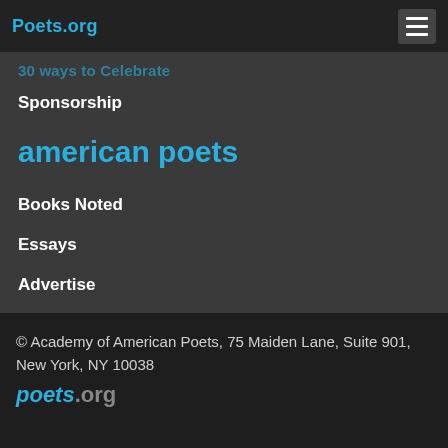Poets.org
30 ways to Celebrate
Sponsorship
american poets
Books Noted
Essays
Advertise
© Academy of American Poets, 75 Maiden Lane, Suite 901, New York, NY 10038
poets.org